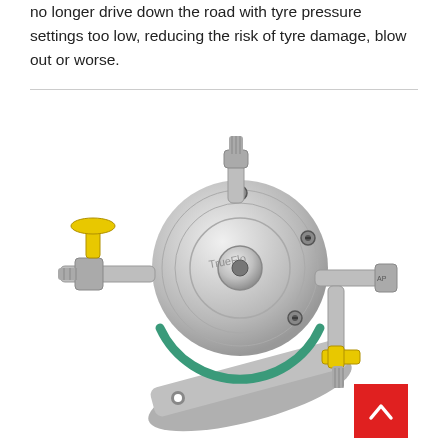no longer drive down the road with tyre pressure settings too low, reducing the risk of tyre damage, blow out or worse.
[Figure (photo): A tyre inflation valve or pressure regulator assembly made of machined aluminium and stainless steel, mounted on a bracket plate. The device features yellow butterfly valve handles, metal fittings, and a circular disc with screws. Brand name partially visible on the disc.]